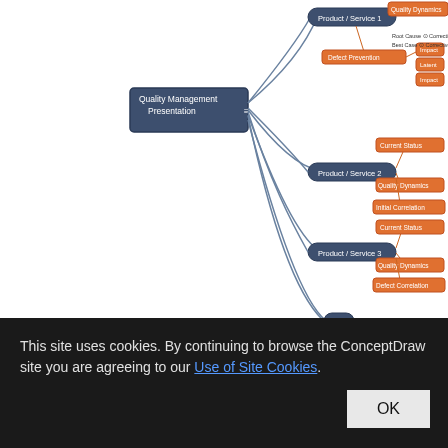[Figure (flowchart): Mind map diagram showing 'Quality Management Presentation' as the central node, connected to Product/Service 1, Product/Service 2, Product/Service 3, and Etc. branches. Product/Service 1 connects to Quality Dynamics and Defect Prevention (which further connects to Impact with Root Cause/Best Case and Corrective Action, and Latent/Impact sub-nodes). Product/Service 2 connects to Current Status, Quality Dynamics, and Initial Correlation. Product/Service 3 connects to Current Status, Quality Dynamics, and Defect Correlation.]
Quality Management Mind Maps - Presentations, Meeting Agendas, Problem will be solved.
The visual form of mind maps is helpful in
This site uses cookies. By continuing to browse the ConceptDraw site you are agreeing to our Use of Site Cookies.